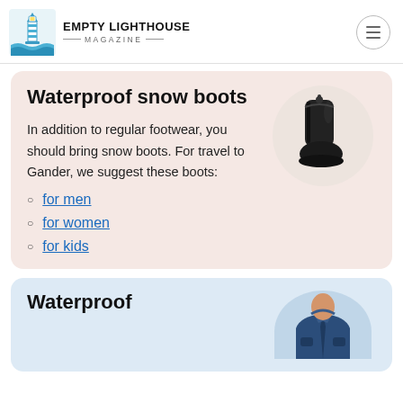EMPTY LIGHTHOUSE MAGAZINE
Waterproof snow boots
[Figure (photo): Black waterproof snow boot shown in a circular cropped image]
In addition to regular footwear, you should bring snow boots. For travel to Gander, we suggest these boots:
for men
for women
for kids
Waterproof
[Figure (photo): Person wearing a navy blue waterproof jacket, shown in a circular cropped image]